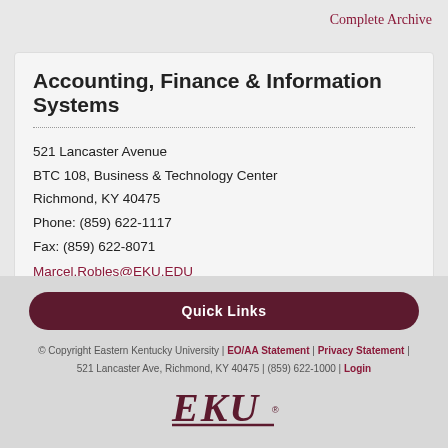Complete Archive
Accounting, Finance & Information Systems
521 Lancaster Avenue
BTC 108, Business & Technology Center
Richmond, KY 40475
Phone: (859) 622-1117
Fax: (859) 622-8071
Marcel.Robles@EKU.EDU
Quick Links
© Copyright Eastern Kentucky University | EO/AA Statement | Privacy Statement | 521 Lancaster Ave, Richmond, KY 40475 | (859) 622-1000 | Login
[Figure (logo): EKU logo in dark maroon with italic letters and underline]